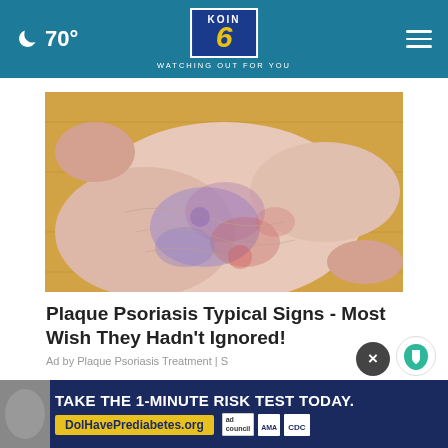70° KOIN 6 WATCHING OUT FOR YOU
[Figure (photo): Close-up photo of a human foot/ankle showing inflamed, psoriasis-affected skin with redness and discoloration, held against a wooden surface background]
Plaque Psoriasis Typical Signs - Most Wish They Hadn't Ignored!
Ad by Plaque Psoriasis Treatment | S
AROUND THE WEB
TAKE THE 1-MINUTE RISK TEST TODAY. DolHavePrediabetes.org